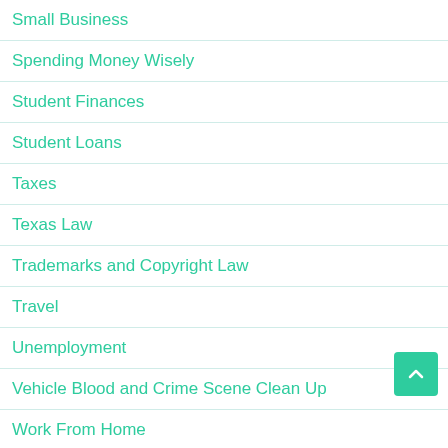Small Business
Spending Money Wisely
Student Finances
Student Loans
Taxes
Texas Law
Trademarks and Copyright Law
Travel
Unemployment
Vehicle Blood and Crime Scene Clean Up
Work From Home
Recent Posts